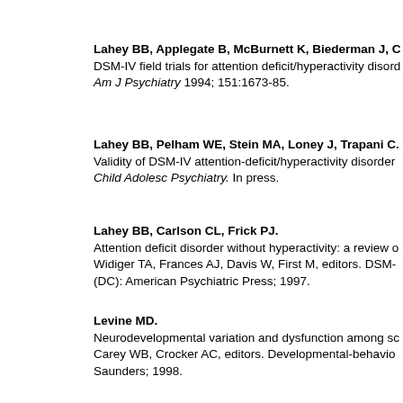Lahey BB, Applegate B, McBurnett K, Biederman J, C. DSM-IV field trials for attention deficit/hyperactivity disord. Am J Psychiatry 1994; 151:1673-85.
Lahey BB, Pelham WE, Stein MA, Loney J, Trapani C. Validity of DSM-IV attention-deficit/hyperactivity disorder. Child Adolesc Psychiatry. In press.
Lahey BB, Carlson CL, Frick PJ. Attention deficit disorder without hyperactivity: a review o. Widiger TA, Frances AJ, Davis W, First M, editors. DSM- (DC): American Psychiatric Press; 1997.
Levine MD. Neurodevelopmental variation and dysfunction among sc. Carey WB, Crocker AC, editors. Developmental-behavio. Saunders; 1998.
Lou HC. Etiology and pathogenesis of attention-deficit hyperactivi. prematurity and perinatal hypoxic-haemodynamic enceph. 85:1266-71.
Maziade M. Should adverse temperament matter to the clinician? A...